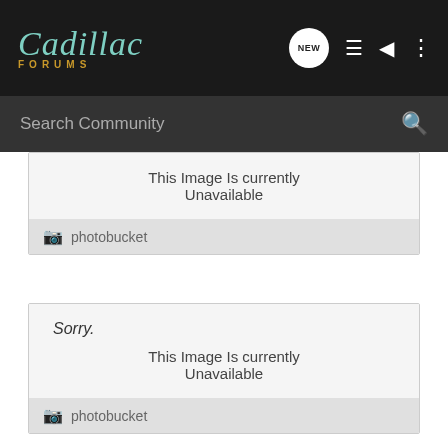[Figure (screenshot): Cadillac Forums website header with logo, NEW chat icon, list icon, user icon, and menu icon]
[Figure (screenshot): Search Community search bar with magnifying glass icon]
[Figure (screenshot): Photobucket unavailable image placeholder (partial, top cut off) showing 'This Image Is currently Unavailable' with photobucket footer]
[Figure (screenshot): Photobucket unavailable image placeholder showing 'Sorry.' and 'This Image Is currently Unavailable' with photobucket footer]
[Figure (screenshot): Photobucket unavailable image placeholder (partial, bottom cut off) showing 'Sorry.']